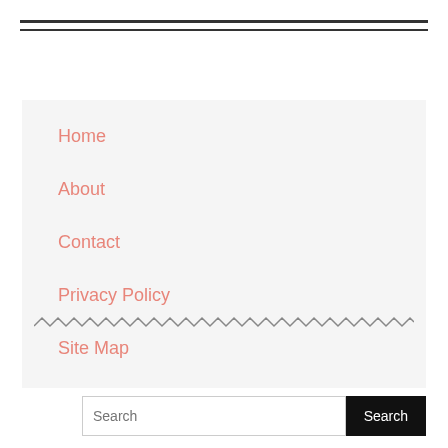Home
About
Contact
Privacy Policy
Site Map
[Figure (illustration): Zigzag/wavy decorative line divider]
Search